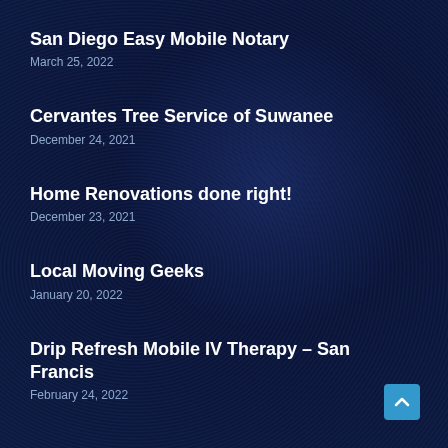San Diego Easy Mobile Notary
March 25, 2022
Cervantes Tree Service of Suwanee
December 24, 2021
Home Renovations done right!
December 23, 2021
Local Moving Geeks
January 20, 2022
Drip Refresh Mobile IV Therapy – San Francisco
February 24, 2022